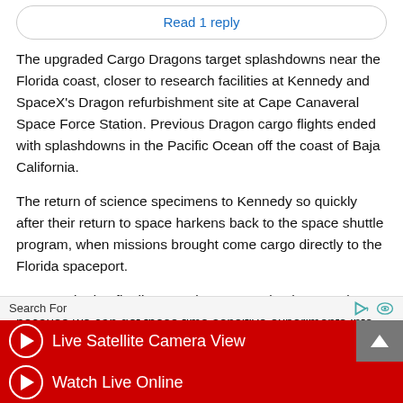Read 1 reply
The upgraded Cargo Dragons target splashdowns near the Florida coast, closer to research facilities at Kennedy and SpaceX’s Dragon refurbishment site at Cape Canaveral Space Force Station. Previous Dragon cargo flights ended with splashdowns in the Pacific Ocean off the coast of Baja California.
The return of science specimens to Kennedy so quickly after their return to space harkens back to the space shuttle program, when missions brought come cargo directly to the Florida spaceport.
“I am excited to finally see science returning here again because we can get these time sensitive experiments into the
Search For
Live Satellite Camera View
Watch Live Online